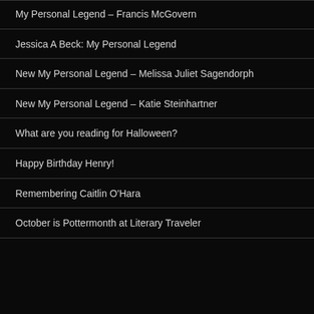My Personal Legend – Francis McGovern
Jessica A Beck: My Personal Legend
New My Personal Legend – Melissa Juliet Sagendorph
New My Personal Legend – Katie Steinhartner
What are you reading for Halloween?
Happy Birthday Henry!
Remembering Caitlin O'Hara
October is Pottermonth at Literary Traveler